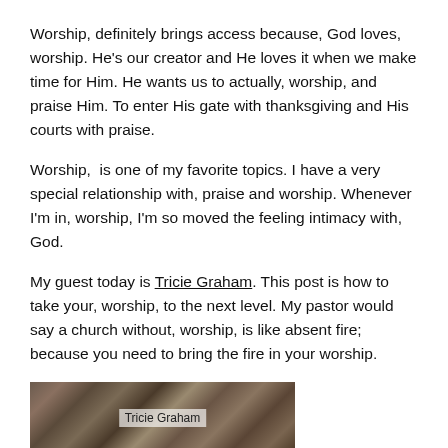Worship, definitely brings access because, God loves, worship. He's our creator and He loves it when we make time for Him. He wants us to actually, worship, and praise Him. To enter His gate with thanksgiving and His courts with praise.
Worship,  is one of my favorite topics. I have a very special relationship with, praise and worship. Whenever I'm in, worship, I'm so moved the feeling intimacy with, God.
My guest today is Tricie Graham. This post is how to take your, worship, to the next level. My pastor would say a church without, worship, is like absent fire; because you need to bring the fire in your worship.
[Figure (photo): Partial image of a book or decorative item featuring the name 'Tricie Graham' in text, with textured patterned background above and below.]